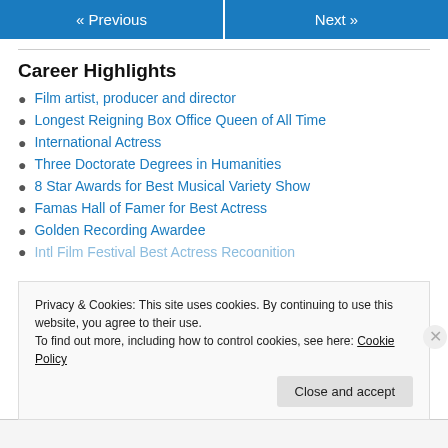« Previous   Next »
Career Highlights
Film artist, producer and director
Longest Reigning Box Office Queen of All Time
International Actress
Three Doctorate Degrees in Humanities
8 Star Awards for Best Musical Variety Show
Famas Hall of Famer for Best Actress
Golden Recording Awardee
Privacy & Cookies: This site uses cookies. By continuing to use this website, you agree to their use.
To find out more, including how to control cookies, see here: Cookie Policy